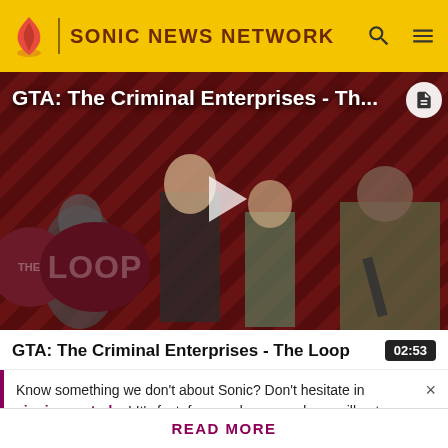SONIC NEWS NETWORK
[Figure (screenshot): Video thumbnail for GTA: The Criminal Enterprises - The Loop, showing game characters on a striped red/dark background with a play button overlay and The Loop badge in bottom left.]
GTA: The Criminal Enterprises - The Loop
02:53
Know something we don't about Sonic? Don't hesitate in signing up today! It's fast, free, and easy, and you will get a
READ MORE